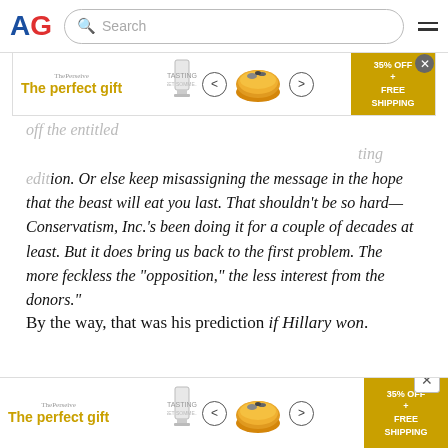AG — Search
[Figure (screenshot): Advertisement banner: 'The perfect gift' with product image, navigation arrows, and '35% OFF + FREE SHIPPING' gold box, with close button]
...or else keep misassigning the message in the hope that the beast will eat you last. That shouldn't be so hard—Conservatism, Inc.'s been doing it for a couple of decades at least. But it does bring us back to the first problem. The more feckless the "opposition," the less interest from the donors."
By the way, that was his prediction if Hillary won.
[Figure (screenshot): Advertisement banner at bottom: 'The perfect gift' with product image, navigation arrows, and '35% OFF + FREE SHIPPING' gold box]